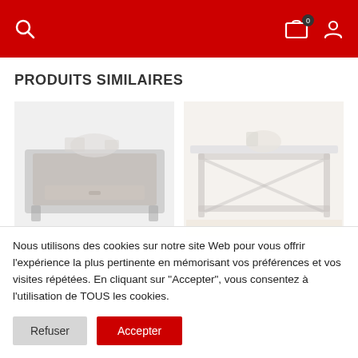Navigation header with search icon, cart (0), and user account icon
PRODUITS SIMILAIRES
[Figure (photo): Coffee table product photo – dark wood rectangular coffee table with storage drawers and decorative items on top]
[Figure (photo): Coffee table product photo – glass-top coffee table with metal frame, decorative fruit bowl visible]
Table basse "F..."
Table basse "El..."
Nous utilisons des cookies sur notre site Web pour vous offrir l'expérience la plus pertinente en mémorisant vos préférences et vos visites répétées. En cliquant sur "Accepter", vous consentez à l'utilisation de TOUS les cookies.
Refuser
Accepter